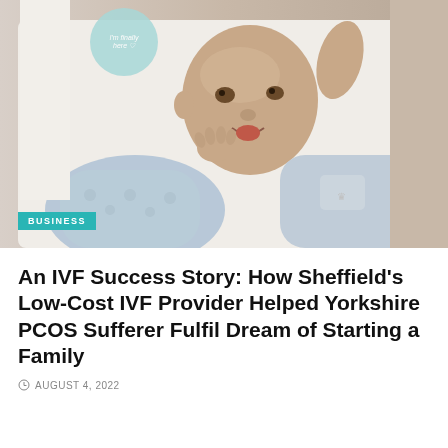[Figure (photo): Newborn baby in light blue patterned onesie, lying on white surface, with mouth open slightly and one hand raised near face. A circular teal decorative element is visible in the top left background.]
BUSINESS
An IVF Success Story: How Sheffield's Low-Cost IVF Provider Helped Yorkshire PCOS Sufferer Fulfil Dream of Starting a Family
AUGUST 4, 2022